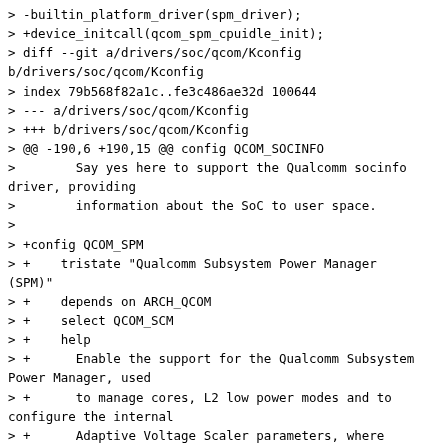> -builtin_platform_driver(spm_driver);
> +device_initcall(qcom_spm_cpuidle_init);
> diff --git a/drivers/soc/qcom/Kconfig b/drivers/soc/qcom/Kconfig
> index 79b568f82a1c..fe3c486ae32d 100644
> --- a/drivers/soc/qcom/Kconfig
> +++ b/drivers/soc/qcom/Kconfig
> @@ -190,6 +190,15 @@ config QCOM_SOCINFO
>        Say yes here to support the Qualcomm socinfo driver, providing
>        information about the SoC to user space.
> 
> +config QCOM_SPM
> +    tristate "Qualcomm Subsystem Power Manager (SPM)"
> +    depends on ARCH_QCOM
> +    select QCOM_SCM
> +    help
> +      Enable the support for the Qualcomm Subsystem Power Manager, used
> +      to manage cores, L2 low power modes and to configure the internal
> +      Adaptive Voltage Scaler parameters, where supported.
> +
>    config QCOM_WCNSS_CTRL
>        tristate "Qualcomm WCNSS control driver"
>        depends on ARCH_QCOM || COMPILE_TEST
> diff --git a/drivers/soc/qcom/Makefile b/drivers/soc/qcom/Makefile